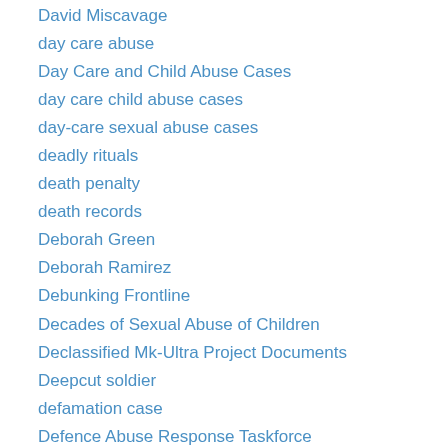David Miscavage
day care abuse
Day Care and Child Abuse Cases
day care child abuse cases
day-care sexual abuse cases
deadly rituals
death penalty
death records
Deborah Green
Deborah Ramirez
Debunking Frontline
Decades of Sexual Abuse of Children
Declassified Mk-Ultra Project Documents
Deepcut soldier
defamation case
Defence Abuse Response Taskforce
degrading slurs
Delaware abuse case
Delayed disclosure and amnesia
delayed memories of childhood abuse